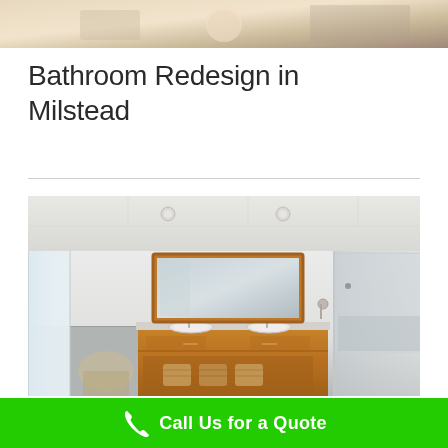[Figure (photo): Partial view of a bathroom, cropped at top of page showing warm-toned tiles and fixtures]
Bathroom Redesign in Milstead
[Figure (photo): Modern bathroom interior with double wooden vanity unit with two white sinks, large framed mirror, glass shower enclosure, recessed ceiling lights, and large window]
Call Us for a Quote